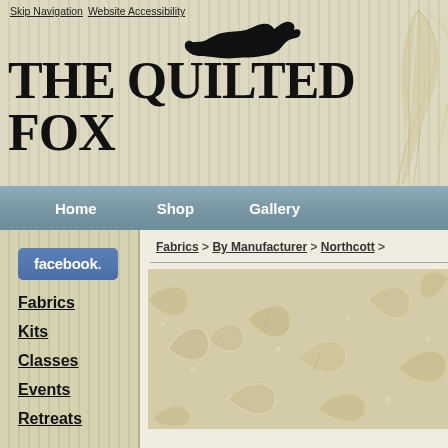Skip Navigation  Website Accessibility
The Quilted Fox
Home  Shop  Gallery
[Figure (screenshot): Facebook button with white text on blue background]
Fabrics
Kits
Classes
Events
Retreats
Fabrics > By Manufacturer > Northcott >
[Figure (photo): Beige/tan fabric with leaf and floral botanical print pattern]